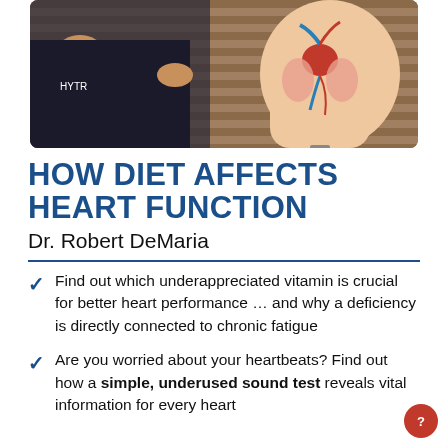[Figure (photo): Photo of Dr. Robert DeMaria pointing at a human anatomy torso model showing heart and vascular system, in a studio setting with wood-paneled background.]
HOW DIET AFFECTS HEART FUNCTION
Dr. Robert DeMaria
Find out which underappreciated vitamin is crucial for better heart performance … and why a deficiency is directly connected to chronic fatigue
Are you worried about your heartbeats? Find out how a simple, underused sound test reveals vital information for every heart